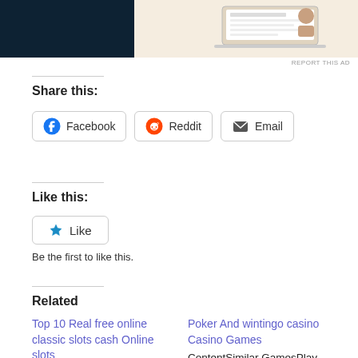[Figure (screenshot): Advertisement banner with dark navy background and a lighter section showing a laptop/interface screenshot on the right side]
REPORT THIS AD
Share this:
Facebook
Reddit
Email
Like this:
Like
Be the first to like this.
Related
Top 10 Real free online classic slots cash Online slots
BlogsBonus Signs & Options that come with
Poker And wintingo casino Casino Games
ContentSimilar GamesPlay Game Of Thrones Slots Casino On PcFree Slots Vs